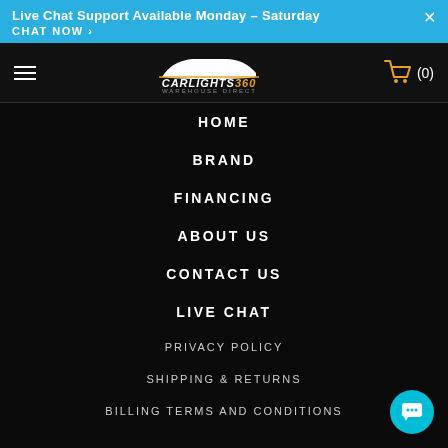Live Chat Support Available Monday – Saturday CHAT NOW >
[Figure (logo): CarLights360 Warehouse Direct logo with car silhouette, hamburger menu icon on left, shopping cart with (0) on right]
HOME
BRAND
FINANCING
ABOUT US
CONTACT US
LIVE CHAT
PRIVACY POLICY
SHIPPING & RETURNS
BILLING TERMS AND CONDITIONS